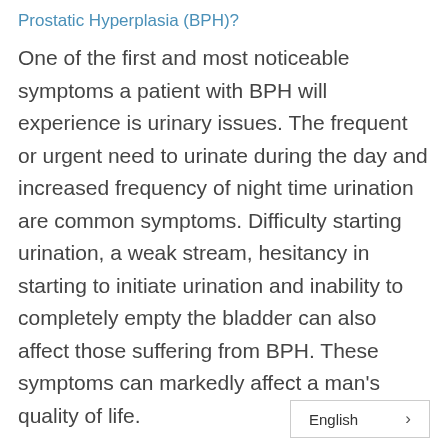Prostatic Hyperplasia (BPH)?
One of the first and most noticeable symptoms a patient with BPH will experience is urinary issues. The frequent or urgent need to urinate during the day and increased frequency of night time urination are common symptoms. Difficulty starting urination, a weak stream, hesitancy in starting to initiate urination and inability to completely empty the bladder can also affect those suffering from BPH. These symptoms can markedly affect a man's quality of life.